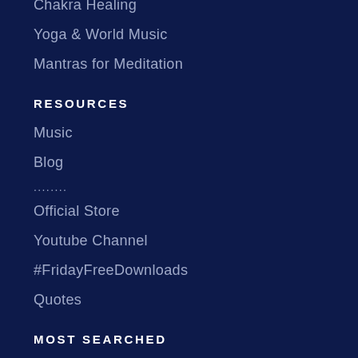Chakra Healing
Yoga & World Music
Mantras for Meditation
RESOURCES
Music
Blog
........
Official Store
Youtube Channel
#FridayFreeDownloads
Quotes
MOST SEARCHED
528Hz Music
432Hz Music